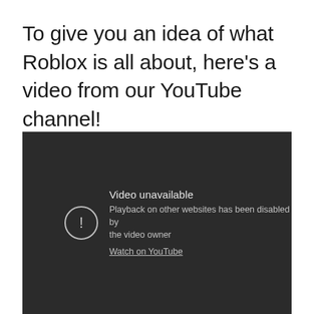To give you an idea of what Roblox is all about, here’s a video from our YouTube channel!
[Figure (screenshot): Embedded video player showing a dark background with a 'Video unavailable' error message. An exclamation mark icon in a circle appears to the left. Text reads: 'Video unavailable', 'Playback on other websites has been disabled by the video owner', and a link 'Watch on YouTube'.]